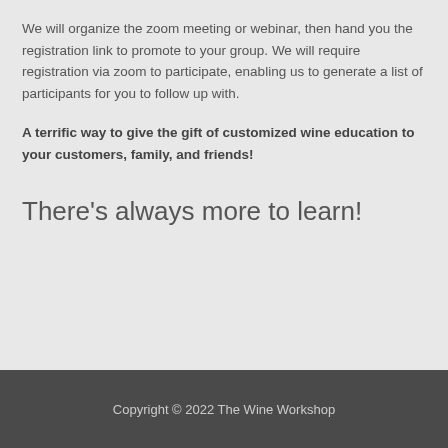We will organize the zoom meeting or webinar, then hand you the registration link to promote to your group. We will require registration via zoom to participate, enabling us to generate a list of participants for you to follow up with.
A terrific way to give the gift of customized wine education to your customers, family, and friends!
There's always more to learn!
Copyright © 2022 The Wine Workshop